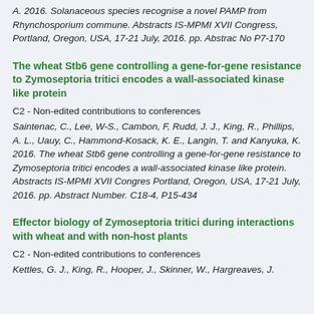A. 2016. Solanaceous species recognise a novel PAMP from Rhynchosporium commune. Abstracts IS-MPMI XVII Congress, Portland, Oregon, USA, 17-21 July, 2016. pp. Abstract No P7-170
The wheat Stb6 gene controlling a gene-for-gene resistance to Zymoseptoria tritici encodes a wall-associated kinase like protein
C2 - Non-edited contributions to conferences
Saintenac, C., Lee, W-S., Cambon, F, Rudd, J. J., King, R., Phillips, A. L., Uauy, C., Hammond-Kosack, K. E., Langin, T. and Kanyuka, K. 2016. The wheat Stb6 gene controlling a gene-for-gene resistance to Zymoseptoria tritici encodes a wall-associated kinase like protein. Abstracts IS-MPMI XVII Congress, Portland, Oregon, USA, 17-21 July, 2016. pp. Abstract Number. C18-4, P15-434
Effector biology of Zymoseptoria tritici during interactions with wheat and with non-host plants
C2 - Non-edited contributions to conferences
Kettles, G. J., King, R., Hooper, J., Skinner, W., Hargreaves, J.